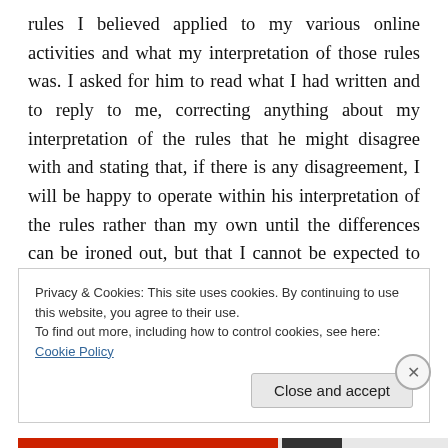rules I believed applied to my various online activities and what my interpretation of those rules was. I asked for him to read what I had written and to reply to me, correcting anything about my interpretation of the rules that he might disagree with and stating that, if there is any disagreement, I will be happy to operate within his interpretation of the rules rather than my own until the differences can be ironed out, but that I cannot be expected to follow his interpretation if he does not share it with me.
Privacy & Cookies: This site uses cookies. By continuing to use this website, you agree to their use. To find out more, including how to control cookies, see here: Cookie Policy